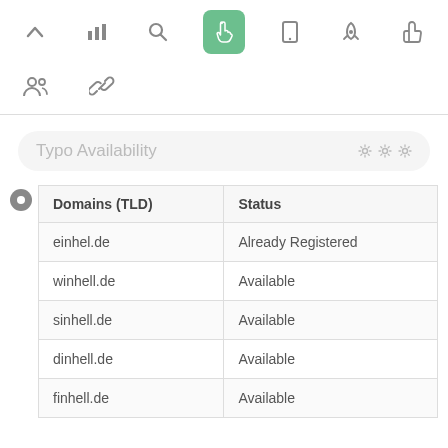[Figure (screenshot): Top navigation toolbar with icons: up-arrow, bar-chart, search, hand/pointer (active, green background), mobile, rocket, thumbs-up; second row: people/group icon, chain-link icon.]
Typo Availability
| Domains (TLD) | Status |
| --- | --- |
| einhel.de | Already Registered |
| winhell.de | Available |
| sinhell.de | Available |
| dinhell.de | Available |
| finhell.de | Available |